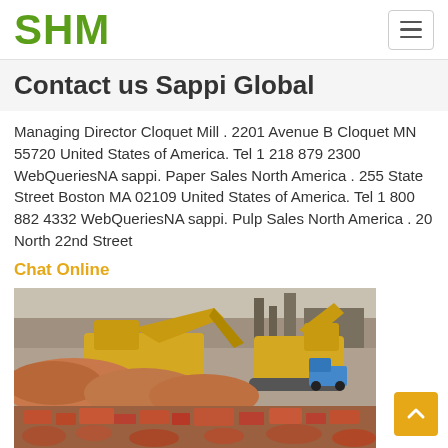SHM
Contact us Sappi Global
Managing Director Cloquet Mill . 2201 Avenue B Cloquet MN 55720 United States of America. Tel 1 218 879 2300 WebQueriesNA sappi. Paper Sales North America . 255 State Street Boston MA 02109 United States of America. Tel 1 800 882 4332 WebQueriesNA sappi. Pulp Sales North America . 20 North 22nd Street
Chat Online
[Figure (photo): Construction/demolition site with yellow excavator machinery, piles of crushed stone/gravel and brick rubble debris in foreground]